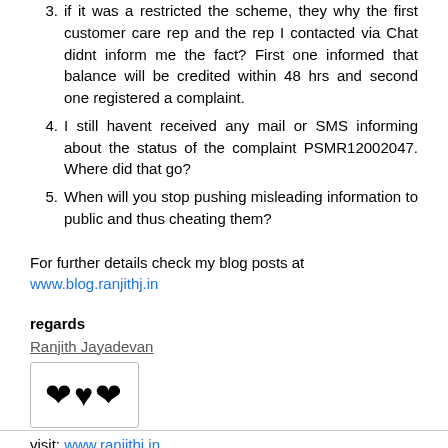3. if it was a restricted the scheme, they why the first customer care rep and the rep I contacted via Chat didnt inform me the fact? First one informed that balance will be credited within 48 hrs and second one registered a complaint.
4. I still havent received any mail or SMS informing about the status of the complaint PSMR12002047. Where did that go?
5. When will you stop pushing misleading information to public and thus cheating them?
For further details check my blog posts at www.blog.ranjithj.in
regards
Ranjith Jayadevan
visit: www.ranjithj.in